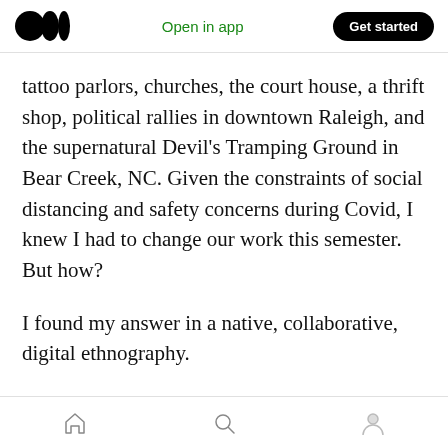Medium app header: logo, Open in app, Get started
tattoo parlors, churches, the court house, a thrift shop, political rallies in downtown Raleigh, and the supernatural Devil's Tramping Ground in Bear Creek, NC. Given the constraints of social distancing and safety concerns during Covid, I knew I had to change our work this semester. But how?
I found my answer in a native, collaborative, digital ethnography.
Native: Long gone are the days when anthropologists like Margaret Mead could
Bottom navigation bar: home, search, profile